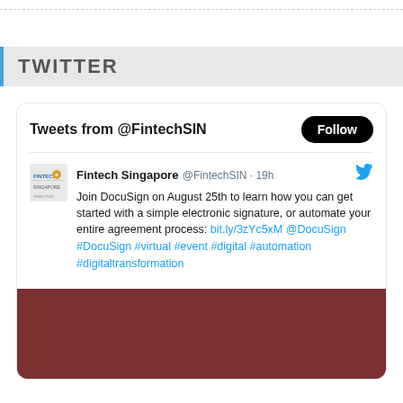TWITTER
Tweets from @FintechSIN
Fintech Singapore @FintechSIN · 19h
Join DocuSign on August 25th to learn how you can get started with a simple electronic signature, or automate your entire agreement process: bit.ly/3zYc5xM @DocuSign #DocuSign #virtual #event #digital #automation #digitaltransformation
[Figure (screenshot): Dark reddish-brown image placeholder at the bottom of the tweet card]